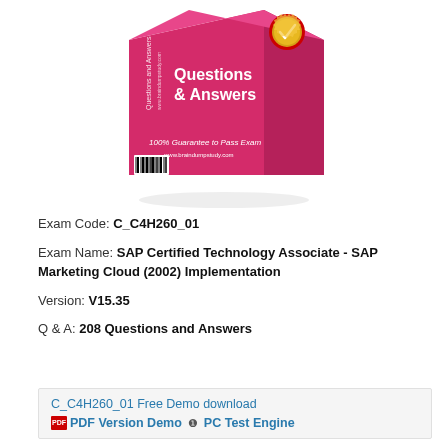[Figure (illustration): Pink/red product box with 'Questions & Answers' text, '100% Guarantee to Pass Exam' tagline, a barcode, and a gold badge seal. Braindumpstudy branding on spine and front.]
Exam Code: C_C4H260_01
Exam Name: SAP Certified Technology Associate - SAP Marketing Cloud (2002) Implementation
Version: V15.35
Q & A: 208 Questions and Answers
C_C4H260_01 Free Demo download
PDF Version Demo  ❶  PC Test Engine